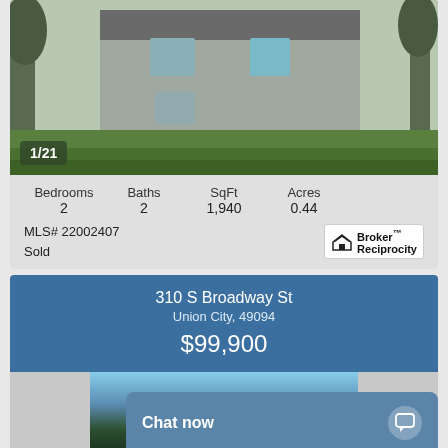[Figure (photo): Exterior photo of a two-story gray house with green lawn and bare trees, showing front and side view]
1/21
Bedrooms 2   Baths 2   SqFt 1,940   Acres 0.44
MLS# 22002407
Sold
[Figure (logo): Broker Reciprocity logo with house icon]
310 S Broadway St
Union City, 49094
$99,900
[Figure (photo): Partial exterior photo of property at 310 S Broadway St showing trees and blue sky]
Chat now